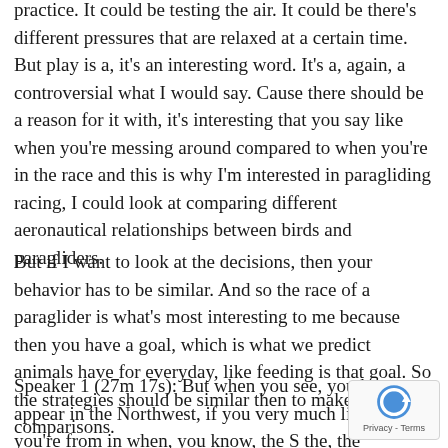practice. It could be testing the air. It could be there's different pressures that are relaxed at a certain time. But play is a, it's an interesting word. It's a, again, a controversial what I would say. Cause there should be a reason for it with, it's interesting that you say like when you're messing around compared to when you're in the race and this is why I'm interested in paragliding racing, I could look at comparing different aeronautical relationships between birds and paragliders.
But if I want to look at the decisions, then your behavior has to be similar. And so the race of a paraglider is what's most interesting to me because then you have a goal, which is what we predict animals have for everyday, like feeding is that goal. So the strategies should be similar then to make some comparisons.
Speaker 1 (27m 17s): But when you see, you know, appear in the Northwest, if you very much like where you're from in when, you know, the S the, the shorebirds that are soa know, just your standard Segal, certainly they're not feeding or